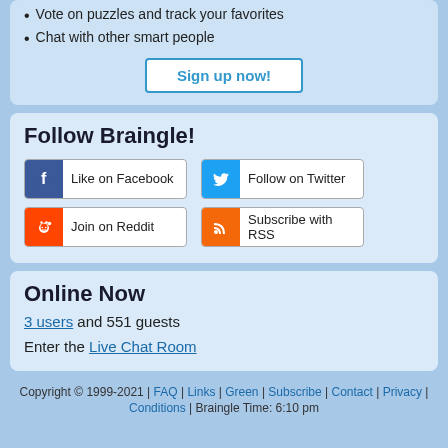Vote on puzzles and track your favorites
Chat with other smart people
Sign up now!
Follow Braingle!
Like on Facebook
Follow on Twitter
Join on Reddit
Subscribe with RSS
Online Now
3 users and 551 guests
Enter the Live Chat Room
Copyright © 1999-2021 | FAQ | Links | Green | Subscribe | Contact | Privacy | Conditions | Braingle Time: 6:10 pm